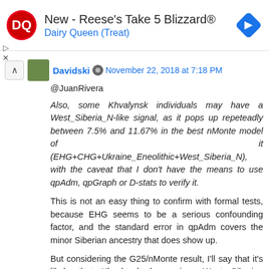[Figure (infographic): Dairy Queen advertisement banner: DQ logo on left, text 'New - Reese's Take 5 Blizzard® / Dairy Queen (Treat)', navigation arrow diamond icon on right]
Davidski · November 22, 2018 at 7:18 PM
@JuanRivera
Also, some Khvalynsk individuals may have a West_Siberia_N-like signal, as it pops up repeteadly between 7.5% and 11.67% in the best nMonte model of it (EHG+CHG+Ukraine_Eneolithic+West_Siberia_N), with the caveat that I don't have the means to use qpAdm, qpGraph or D-stats to verify it.
This is not an easy thing to confirm with formal tests, because EHG seems to be a serious confounding factor, and the standard error in qpAdm covers the minor Siberian ancestry that does show up.
But considering the G25/nMonte result, I'll say that it's likely that Khvalynsk has minor West Siberian ancestry.